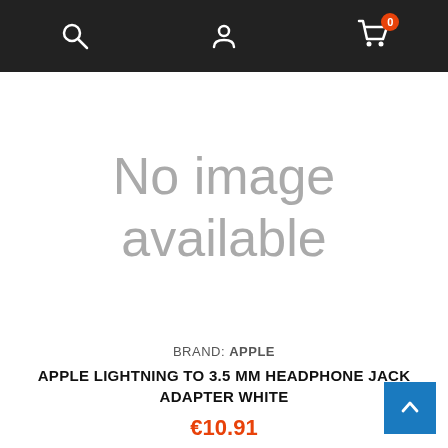Navigation bar with search, account, and cart (0 items) icons
[Figure (screenshot): No image available placeholder — large grey text on white background reading 'No image available']
BRAND: APPLE
APPLE LIGHTNING TO 3.5 MM HEADPHONE JACK ADAPTER WHITE
€10.91